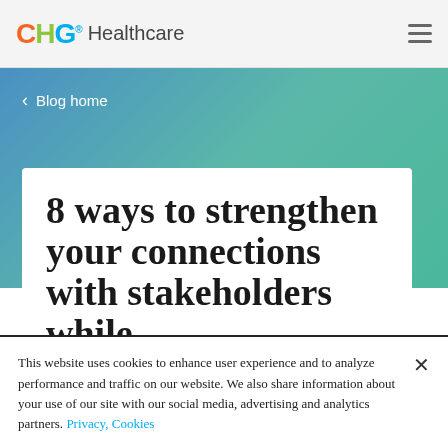CHG Healthcare
< Blog home
8 ways to strengthen your connections with stakeholders while
This website uses cookies to enhance user experience and to analyze performance and traffic on our website. We also share information about your use of our site with our social media, advertising and analytics partners. Privacy, Cookies